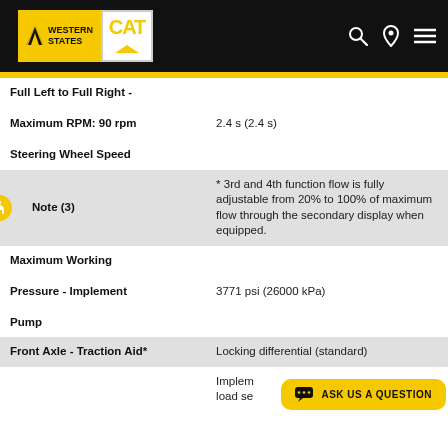[Figure (logo): Western States CAT logo on black header bar with search, location, and menu icons]
| Specification | Value |
| --- | --- |
| Full Left to Full Right - Maximum RPM: 90 rpm Steering Wheel Speed | 2.4 s (2.4 s) |
| Note (3) | * 3rd and 4th function flow is fully adjustable from 20% to 100% of maximum flow through the secondary display when equipped. |
| Maximum Working Pressure - Implement Pump | 3771 psi (26000 kPa) |
| Front Axle - Traction Aid* | Locking differential (standard) |
|  | Implement pump load se... |